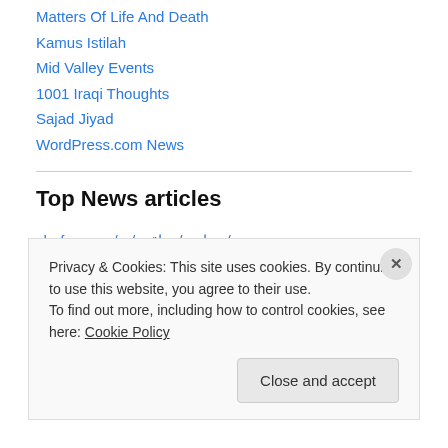Matters Of Life And Death
Kamus Istilah
Mid Valley Events
1001 Iraqi Thoughts
Sajad Jiyad
WordPress.com News
Top News articles
shafaq.com/ar/سياسة/مواقف/...
shafaq.com/ar/سياسة/الكاظ/...
shafaq.com/ar/سياسة/مقتدى/...
Privacy & Cookies: This site uses cookies. By continuing to use this website, you agree to their use.
To find out more, including how to control cookies, see here: Cookie Policy
Close and accept